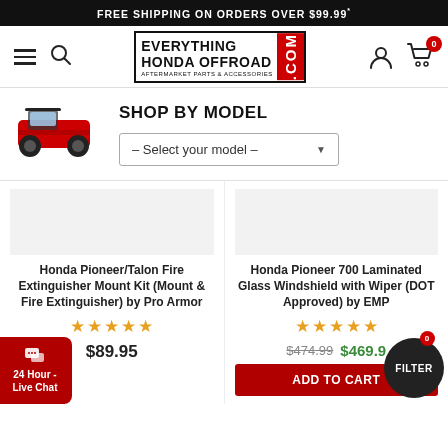FREE SHIPPING ON ORDERS OVER $99.99*
[Figure (logo): Everything Honda Offroad .com logo with red .COM block]
SHOP BY MODEL
– Select your model –
Honda Pioneer/Talon Fire Extinguisher Mount Kit (Mount & Fire Extinguisher) by Pro Armor
★★★★★
$89.95
Honda Pioneer 700 Laminated Glass Windshield with Wiper (DOT Approved) by EMP
★★★★★
$474.99  $469.9...
ADD TO CART
24 Hour - Live Chat
FILTER